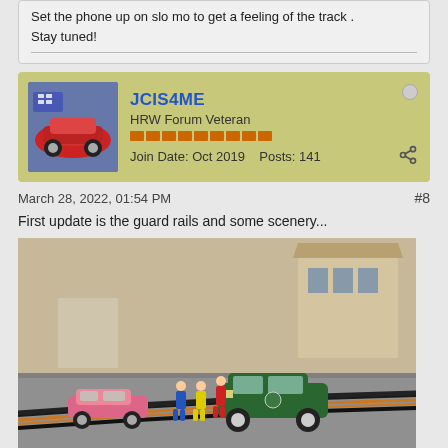Set the phone up on slo mo to get a feeling of the track . Stay tuned!
JCIS4ME
HRW Forum Veteran
Join Date: Oct 2019    Posts: 141
March 28, 2022, 01:54 PM
#8
First update is the guard rails and some scenery...
[Figure (photo): Photo of a slot car track scene with model cars including a green vintage car and pink race car, with miniature figurines of pit crew/race officials standing alongside the track. Background shows model buildings and scenery.]